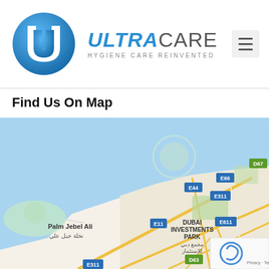[Figure (logo): UltraCare logo: blue circle with stylized U letter inside, next to brand name ULTRACARE with tagline HYGIENE CARE REINVENTED]
Find Us On Map
[Figure (map): Google Maps screenshot showing Dubai area including Palm Jebel Ali, Dubai Investments Park, and roads E11, E44, E66, E311, E611, E77, D67, D63]